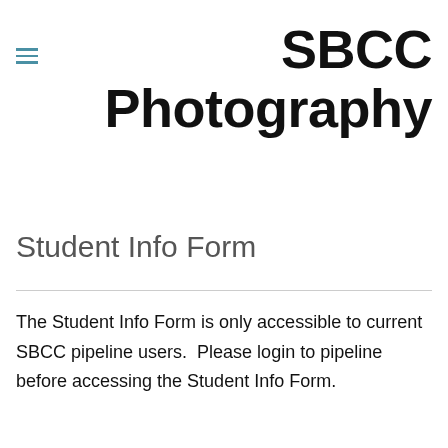SBCC Photography
Student Info Form
The Student Info Form is only accessible to current SBCC pipeline users.  Please login to pipeline before accessing the Student Info Form.